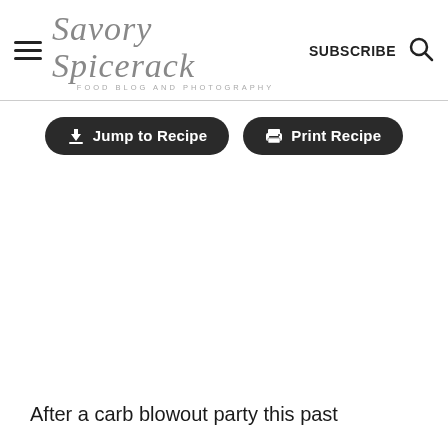Savory Spicerack — FOOD BLOG AND PHOTOGRAPHY — SUBSCRIBE
[Figure (screenshot): Two dark rounded buttons: 'Jump to Recipe' with a download arrow icon, and 'Print Recipe' with a printer icon]
After a carb blowout party this past